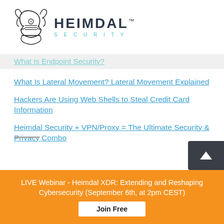[Figure (logo): Heimdal Security logo: stylized Viking helmet illustration in outline style next to bold text HEIMDAL with trademark symbol and SECURITY in teal below]
What Is Endpoint Security?
What Is Lateral Movement? Lateral Movement Explained
Hackers Are Using Web Shells to Steal Credit Card Information
Heimdal Security + VPN/Proxy = The Ultimate Security & Privacy Combo
LIVE Webinar - Heimdal XDR: Extending and Reshaping Cybersecurity (September 6th, at 2pm CEST)
Join Free